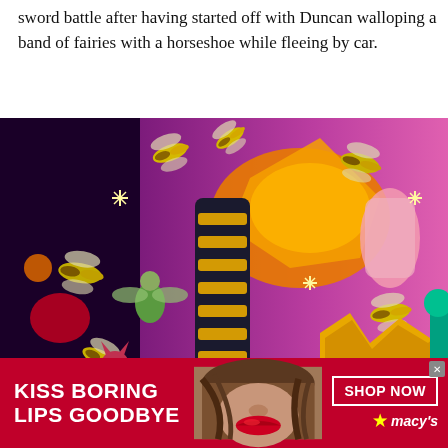sword battle after having started off with Duncan walloping a band of fairies with a horseshoe while fleeing by car.
[Figure (illustration): Comic book illustration showing a character in a black and yellow costume surrounded by flying insects (bees/wasps) and fairy-like creatures against a purple and pink background. Sound effect 'SWAT' style jagged lettering in yellow/orange at lower right.]
[Figure (photo): Advertisement banner: Macy's ad with a woman with red lips on a dark red background. Text reads 'KISS BORING LIPS GOODBYE' with 'SHOP NOW' button and Macy's star logo.]